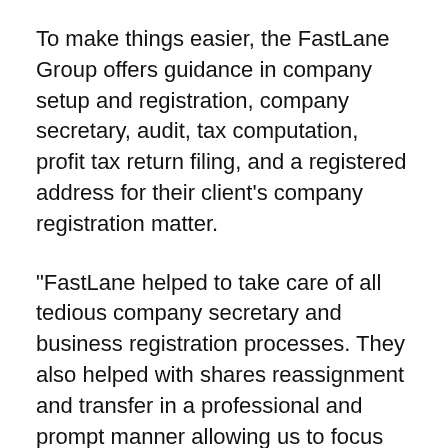To make things easier, the FastLane Group offers guidance in company setup and registration, company secretary, audit, tax computation, profit tax return filing, and a registered address for their client's company registration matter.
"FastLane helped to take care of all tedious company secretary and business registration processes. They also helped with shares reassignment and transfer in a professional and prompt manner allowing us to focus on expanding the business", reviewed Carnot Innovations, one of FastLane's clients.
Supporting 500+ clients worldwide, it is no wonder that FastLane Group is the best at what they do. Their mission is to strive to establish a secure and